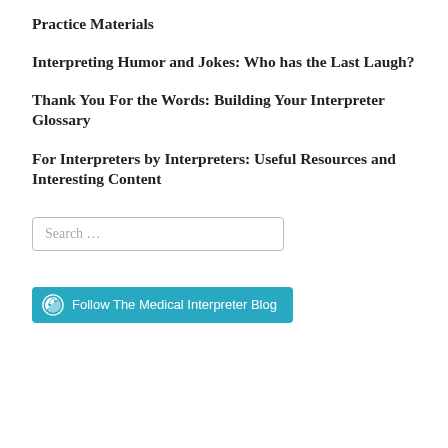Practice Materials
Interpreting Humor and Jokes: Who has the Last Laugh?
Thank You For the Words: Building Your Interpreter Glossary
For Interpreters by Interpreters: Useful Resources and Interesting Content
Search …
[Figure (other): Follow The Medical Interpreter Blog button (teal/cyan colored button with WordPress logo icon)]